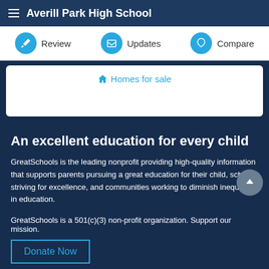Averill Park High School
Review  Updates  Compare
Homes for sale
An excellent education for every child
GreatSchools is the leading nonprofit providing high-quality information that supports parents pursuing a great education for their child, schools striving for excellence, and communities working to diminish inequities in education.
GreatSchools is a 501(c)(3) non-profit organization. Support our mission.
Donate Now
Join us
Supporters  Licensing  Sponsorship  Advertising  Careers